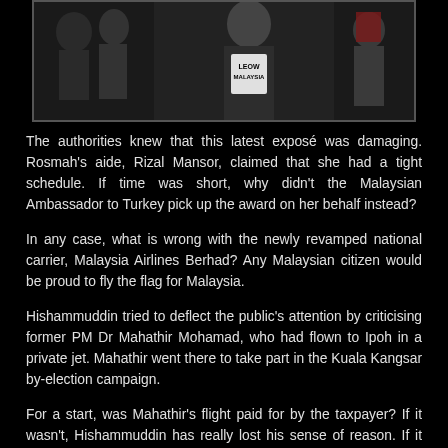[Figure (photo): A partially visible photograph showing people, one wearing a shirt with text 'LEOW MALAYSIA', set against a dark/black border frame.]
The authorities knew that this latest exposé was damaging. Rosmah's aide, Rizal Mansor, claimed that she had a tight schedule. If time was short, why didn't the Malaysian Ambassador to Turkey pick up the award on her behalf instead?
In any case, what is wrong with the newly revamped national carrier, Malaysia Airlines Berhad? Any Malaysian citizen would be proud to fly the flag for Malaysia.
Hishammuddin tried to deflect the public's attention by criticising former PM Dr Mahathir Mohamad, who had flown to Ipoh in a private jet. Mahathir went there to take part in the Kuala Kangsar by-election campaign.
For a start, was Mahathir's flight paid for by the taxpayer? If it wasn't, Hishammuddin has really lost his sense of reason. If it was paid for by the rakyat, did it cost several million ringgit? If it was a government jet, why was Mahathir eligible to use it?